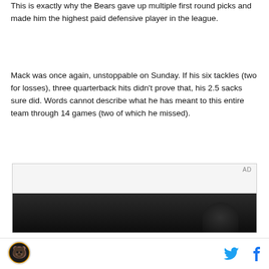This is exactly why the Bears gave up multiple first round picks and made him the highest paid defensive player in the league.
Mack was once again, unstoppable on Sunday. If his six tackles (two for losses), three quarterback hits didn’t prove that, his 2.5 sacks sure did. Words cannot describe what he has meant to this entire team through 14 games (two of which he missed).
[Figure (other): Advertisement placeholder box with AD label and dark photo area below showing partial image of a person in dark lighting]
[Figure (logo): Chicago Bears circular logo with bear illustration]
[Figure (other): Twitter bird icon and Facebook f icon for social sharing]